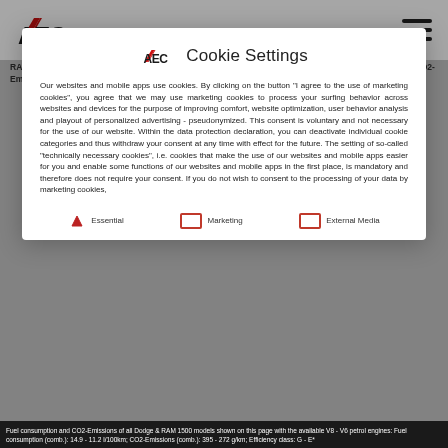AEC [logo]
RAM 1500: Kraftstoffverbrauch: Innerorts 13,7 l/100km; Außerorts 10,7 l/100km; Komb. 14,9 l/100km; CO2-Emissionen
Cookie Settings
Our websites and mobile apps use cookies. By clicking on the button "I agree to the use of marketing cookies", you agree that we may use marketing cookies to process your surfing behavior across websites and devices for the purpose of improving comfort, website optimization, user behavior analysis and playout of personalized advertising - pseudonymized. This consent is voluntary and not necessary for the use of our website. Within the data protection declaration, you can deactivate individual cookie categories and thus withdraw your consent at any time with effect for the future. The setting of so-called "technically necessary cookies", i.e. cookies that make the use of our websites and mobile apps easier for you and enable some functions of our websites and mobile apps in the first place, is mandatory and therefore does not require your consent. If you do not wish to consent to the processing of your data by marketing cookies,
Essential
Marketing
External Media
Fuel consumption and CO2-Emissions of all Dodge & RAM 1500 models shown on this page with the available V8 - V6 petrol engines: Fuel consumption (comb.): 14.9 - 11.2 l/100km; CO2-Emissions (comb.): 395 - 272 g/km; Efficiency class: G - E*